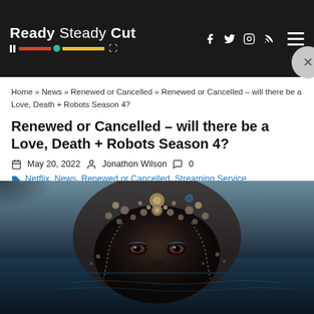Ready Steady Cut — navigation header with logo, social icons (Facebook, Twitter, Instagram, RSS), and hamburger menu
Home » News » Renewed or Cancelled » Renewed or Cancelled – will there be a Love, Death + Robots Season 4?
Renewed or Cancelled – will there be a Love, Death + Robots Season 4?
May 20, 2022   Jonathon Wilson   0
Netflix, News, Renewed or Cancelled, Streaming Service
[Figure (photo): Close-up photo of a person with ornate beaded headpiece partially submerged in water, dramatic eye makeup visible, dark atmospheric tones]